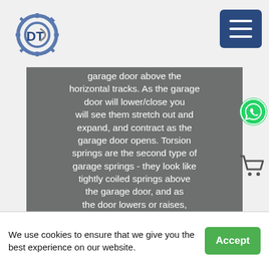[Figure (logo): Gear/DT logo in blue and grey]
[Figure (screenshot): Hamburger menu button, dark blue with three white horizontal lines]
garage door above the horizontal tracks. As the garage door will lower/close you will see them stretch out and expand, and contract as the garage door opens. Torsion springs are the second type of garage springs - they look like tightly coiled springs above the garage door, and as the door lowers or raises, they twist to contract or expand. Most garage door fails due to but is not limited together 3 reasons.

(1) A broken Spring
(2) Lack of maintenance
[Figure (logo): WhatsApp green phone icon]
[Figure (illustration): Shopping cart icon in dark grey outline]
We use cookies to ensure that we give you the best experience on our website.